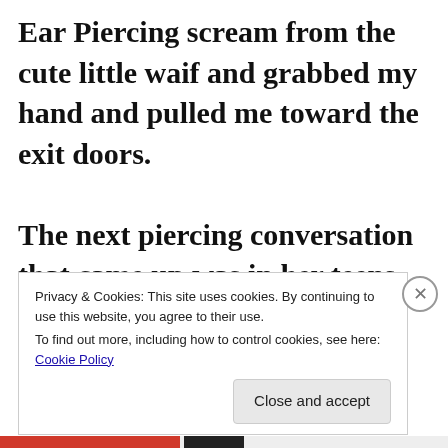Ear Piercing scream from the cute little waif and grabbed my hand and pulled me toward the exit doors.

The next piercing conversation that came up was in her teens when the
Privacy & Cookies: This site uses cookies. By continuing to use this website, you agree to their use.
To find out more, including how to control cookies, see here: Cookie Policy